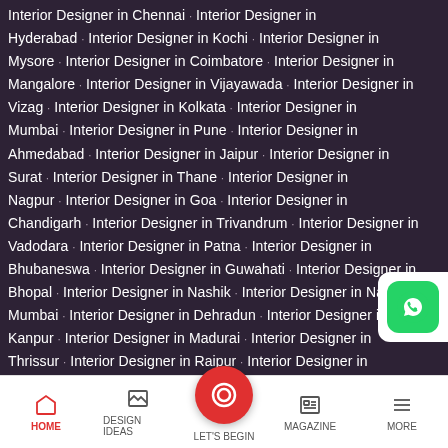Interior Designer in Chennai · Interior Designer in Hyderabad · Interior Designer in Kochi · Interior Designer in Mysore · Interior Designer in Coimbatore · Interior Designer in Mangalore · Interior Designer in Vijayawada · Interior Designer in Vizag · Interior Designer in Kolkata · Interior Designer in Mumbai · Interior Designer in Pune · Interior Designer in Ahmedabad · Interior Designer in Jaipur · Interior Designer in Surat · Interior Designer in Thane · Interior Designer in Nagpur · Interior Designer in Goa · Interior Designer in Chandigarh · Interior Designer in Trivandrum · Interior Designer in Vadodara · Interior Designer in Patna · Interior Designer in Bhubaneswar · Interior Designer in Guwahati · Interior Designer in Bhopal · Interior Designer in Nashik · Interior Designer in Navi Mumbai · Interior Designer in Dehradun · Interior Designer in Kanpur · Interior Designer in Madurai · Interior Designer in Thrissur · Interior Designer in Raipur · Interior Designer in Ranchi · Interior Designer in Rajkot
[Figure (other): WhatsApp floating button icon (green with white phone icon)]
HOME | DESIGN IDEAS | LET'S BEGIN | MAGAZINE | MORE